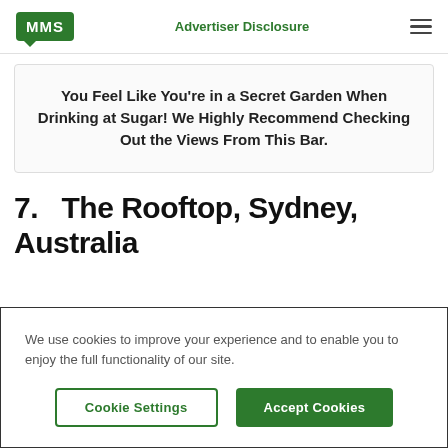MMS | Advertiser Disclosure
You Feel Like You’re in a Secret Garden When Drinking at Sugar! We Highly Recommend Checking Out the Views From This Bar.
7. The Rooftop, Sydney, Australia
We use cookies to improve your experience and to enable you to enjoy the full functionality of our site.